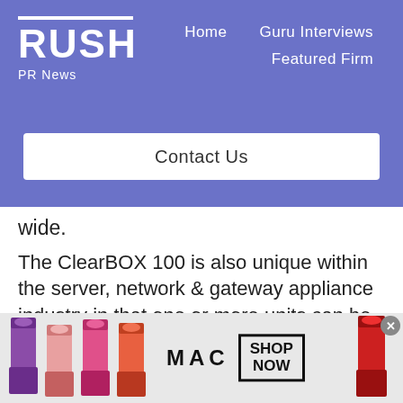RUSH PR News — Home | Guru Interviews | Featured Firm
Contact Us
wide.
The ClearBOX 100 is also unique within the server, network & gateway appliance industry in that one or more units can be configured in multiple mission-critical failover modes to ensure internet connectivity and network protection
[Figure (photo): MAC cosmetics advertisement banner with lipsticks, MAC logo, and SHOP NOW button]